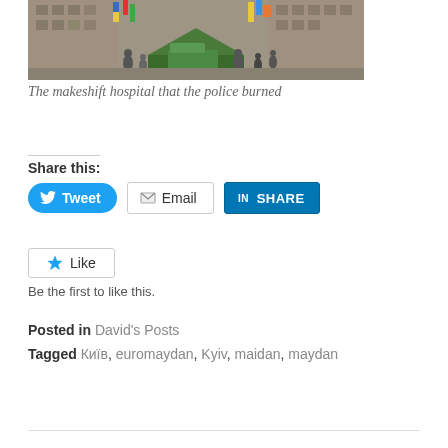[Figure (photo): Photograph of a makeshift hospital or protest camp in front of a damaged building. A green tent is visible in the center, along with a green van, several people, colorful flags and banners. The building facade shows damage.]
The makeshift hospital that the police burned
Share this:
Tweet | Email | SHARE
Like
Be the first to like this.
Posted in David's Posts
Tagged Київ, euromaydan, Kyiv, maidan, maydan